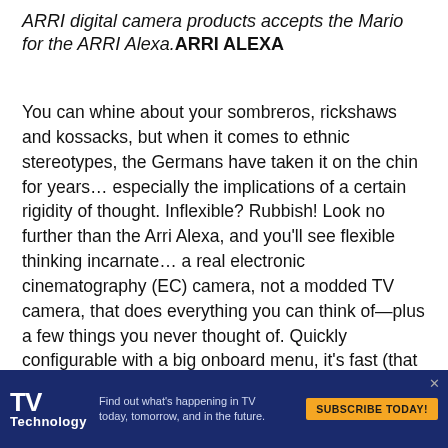ARRI digital camera products accepts the Mario for the ARRI Alexa.ARRI ALEXA
You can whine about your sombreros, rickshaws and kossacks, but when it comes to ethnic stereotypes, the Germans have taken it on the chin for years… especially the implications of a certain rigidity of thought. Inflexible? Rubbish! Look no further than the Arri Alexa, and you'll see flexible thinking incarnate… a real electronic cinematography (EC) camera, not a modded TV camera, that does everything you can think of—plus a few things you never thought of. Quickly configurable with a big onboard menu, it's fast (that means sensitive) and responsive (that means pretty); and because it's from ARRI, it's got access to every cinema lens, viewfinder and accessory ever made. It's well-engineered, well-built, and just oozing
[Figure (other): TVTechnology advertisement banner with blue background, logo, tagline 'Find out what's happening in TV today, tomorrow, and in the future.' and orange SUBSCRIBE TODAY! button]